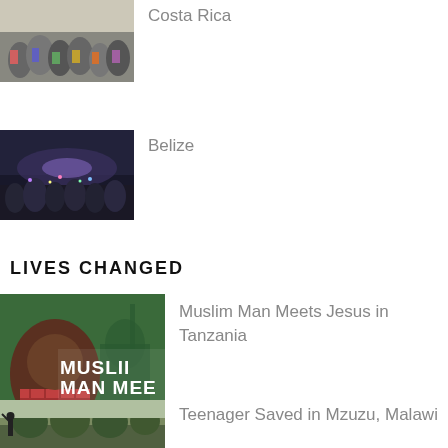[Figure (photo): Crowd of people at an outdoor event, Costa Rica]
Costa Rica
[Figure (photo): Large crowd at night, Belize]
Belize
LIVES CHANGED
[Figure (photo): Video thumbnail: Muslim Man Meets Jesus in Tanzania, showing a man in a plaid shirt with text overlay]
Muslim Man Meets Jesus in Tanzania
[Figure (photo): Outdoor scene with trees, Mzuzu, Malawi]
Teenager Saved in Mzuzu, Malawi